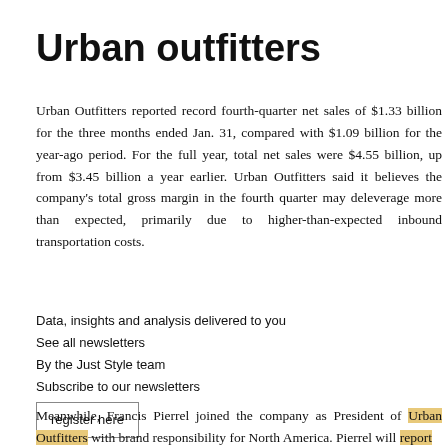Urban outfitters
Urban Outfitters reported record fourth-quarter net sales of $1.33 billion for the three months ended Jan. 31, compared with $1.09 billion for the year-ago period. For the full year, total net sales were $4.55 billion, up from $3.45 billion a year earlier. Urban Outfitters said it believes the company's total gross margin in the fourth quarter may deleverage more than expected, primarily due to higher-than-expected inbound transportation costs.
Data, insights and analysis delivered to you
See all newsletters
By the Just Style team
Subscribe to our newsletters
register here
Meanwhile, Francis Pierrel joined the company as President of Urban Outfitters with brand responsibility for North America. Pierrel will report